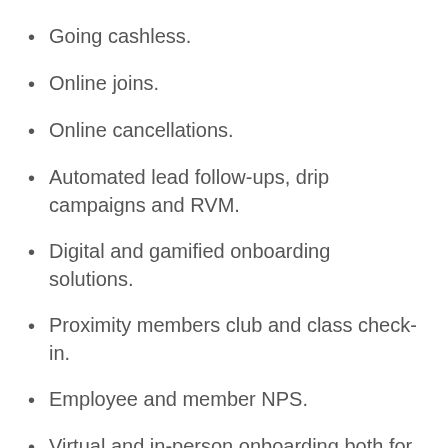Going cashless.
Online joins.
Online cancellations.
Automated lead follow-ups, drip campaigns and RVM.
Digital and gamified onboarding solutions.
Proximity members club and class check-in.
Employee and member NPS.
Virtual and in-person onboarding both for members and staff.
Club app that allows for better member mobile experience and staff.
5. Descript...